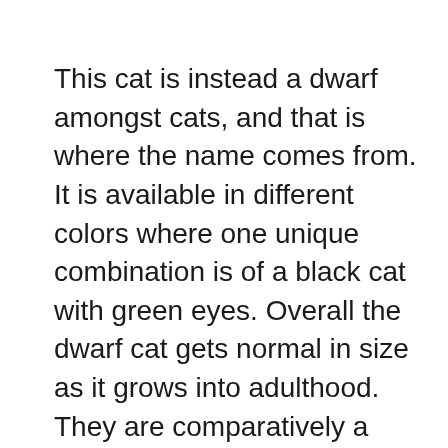This cat is instead a dwarf amongst cats, and that is where the name comes from. It is available in different colors where one unique combination is of a black cat with green eyes. Overall the dwarf cat gets normal in size as it grows into adulthood. They are comparatively a new breed of cats that came in view around 2000.
These short-legged cats are the result of a genetic mix that is a result of mutation. Now they are preferred for the short legs and bred for the same feature making it more adorable. But an essential point of consideration is that having two munchkins